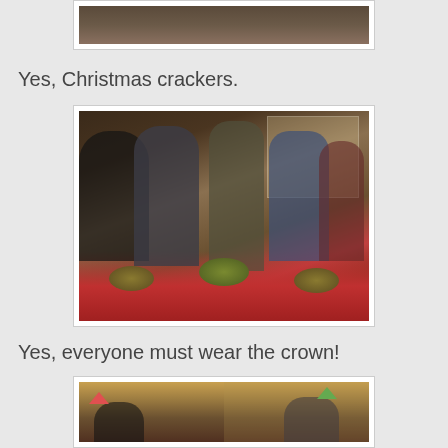[Figure (photo): Top of a Christmas dinner table scene, partially visible at top of page]
Yes, Christmas crackers.
[Figure (photo): Family gathered around a Christmas dinner table with red tablecloth, salad bowls, and festive decorations; five people visible]
Yes, everyone must wear the crown!
[Figure (photo): Another Christmas dinner scene, partially visible at bottom of page, people wearing crowns]